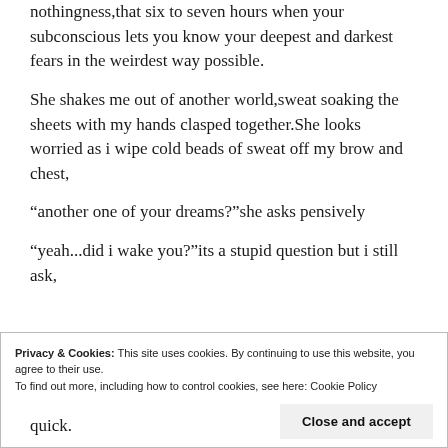nothingness,that six to seven hours when your subconscious lets you know your deepest and darkest fears in the weirdest way possible.
She shakes me out of another world,sweat soaking the sheets with my hands clasped together.She looks worried as i wipe cold beads of sweat off my brow and chest,
“another one of your dreams?”she asks pensively
“yeah...did i wake you?”its a stupid question but i still ask,
Privacy & Cookies: This site uses cookies. By continuing to use this website, you agree to their use.
To find out more, including how to control cookies, see here: Cookie Policy
Close and accept
quick.